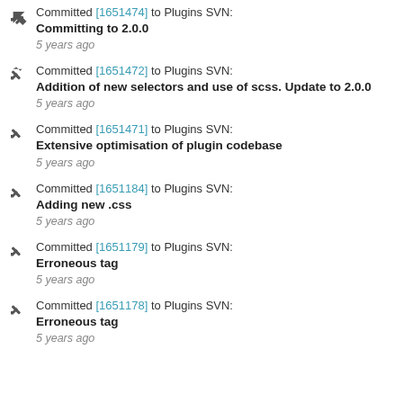Committed [1651474] to Plugins SVN: Committing to 2.0.0 — 5 years ago
Committed [1651472] to Plugins SVN: Addition of new selectors and use of scss. Update to 2.0.0 — 5 years ago
Committed [1651471] to Plugins SVN: Extensive optimisation of plugin codebase — 5 years ago
Committed [1651184] to Plugins SVN: Adding new .css — 5 years ago
Committed [1651179] to Plugins SVN: Erroneous tag — 5 years ago
Committed [1651178] to Plugins SVN: Erroneous tag — 5 years ago